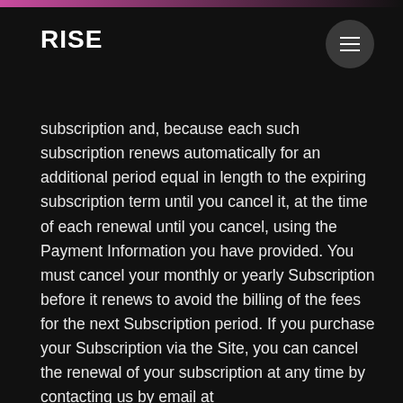RISE
subscription and, because each such subscription renews automatically for an additional period equal in length to the expiring subscription term until you cancel it, at the time of each renewal until you cancel, using the Payment Information you have provided. You must cancel your monthly or yearly Subscription before it renews to avoid the billing of the fees for the next Subscription period. If you purchase your Subscription via the Site, you can cancel the renewal of your subscription at any time by contacting us by email at contact@risescience.com. If you purchase your Subscription via an App Provider, you can cancel the renewal of your subscription at any time with the App Provider. You will not receive a refund for the